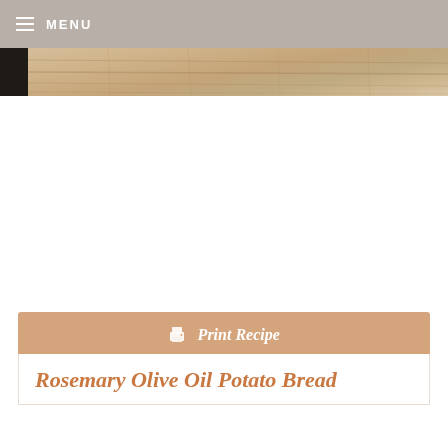≡ MENU
[Figure (photo): Partial view of a wooden cutting board or bread board, photographed from above, with warm tan and brown wood tones. A dark element is visible at the left edge.]
🖨 Print Recipe
Rosemary Olive Oil Potato Bread